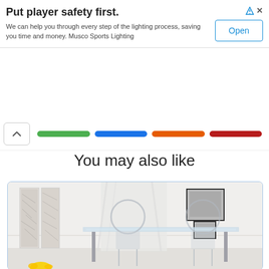[Figure (screenshot): Advertisement banner: 'Put player safety first.' with body text about Musco Sports Lighting and an Open button. Ad icon (triangle) and X close button in top right.]
[Figure (screenshot): Tab navigation bar with up-arrow chevron button and four colored pill tabs: green, blue, orange, red.]
You may also like
[Figure (photo): Interior room photo showing a glass-top dining table with acrylic ghost chairs in a white room with framed wall art and decorative panels.]